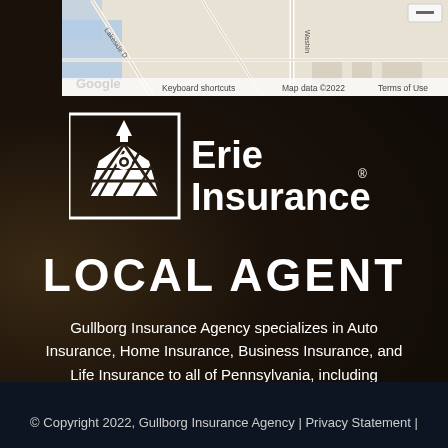[Figure (screenshot): Google Maps partial screenshot showing roads including Lakeside Dr and Washington area, with Google branding, Keyboard shortcuts, Map data ©2022, Terms of Use text]
[Figure (logo): Erie Insurance local agent logo — rectangular icon of a church/building with stylized roof lines, next to 'Erie Insurance' text in white, with registered trademark symbol, over dark background]
LOCAL AGENT
Gullborg Insurance Agency specializes in Auto Insurance, Home Insurance, Business Insurance, and Life Insurance to all of Pennsylvania, including McMurray, Upper St. Clair, Canonsburg.
© Copyright 2022, Gullborg Insurance Agency | Privacy Statement |